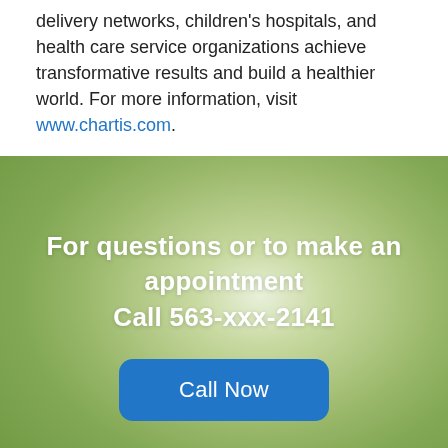delivery networks, children's hospitals, and health care service organizations achieve transformative results and build a healthier world. For more information, visit www.chartis.com.
For questions or to make an appointment
Call 563-xxx-2141
Call Now